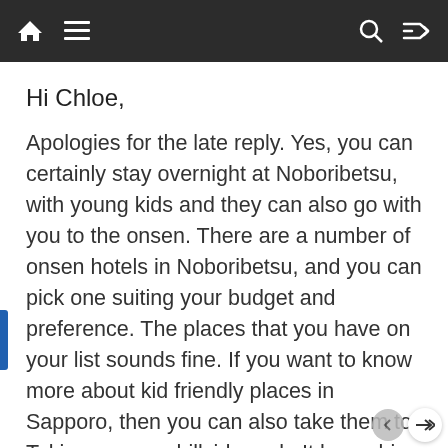Navigation bar with home, menu, search, and shuffle icons
Hi Chloe,
Apologies for the late reply. Yes, you can certainly stay overnight at Noboribetsu, with young kids and they can also go with you to the onsen. There are a number of onsen hotels in Noboribetsu, and you can pick one suiting your budget and preference. The places that you have on your list sounds fine. If you want to know more about kid friendly places in Sapporo, then you can also take them to Takino suzuran hillside park. It has a big kids outdoor and indoor play area. There is also Sapporo Satoland, which is a huge park with kids play area and animal petting and feeding